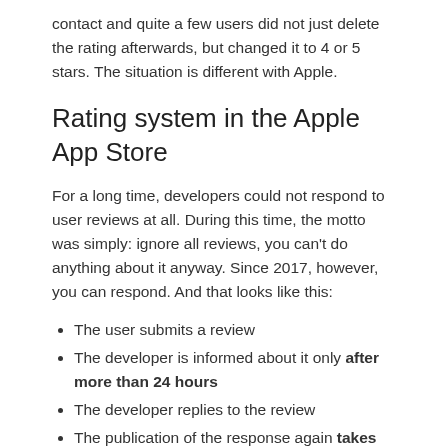contact and quite a few users did not just delete the rating afterwards, but changed it to 4 or 5 stars. The situation is different with Apple.
Rating system in the Apple App Store
For a long time, developers could not respond to user reviews at all. During this time, the motto was simply: ignore all reviews, you can't do anything about it anyway. Since 2017, however, you can respond. And that looks like this:
The user submits a review
The developer is informed about it only after more than 24 hours
The developer replies to the review
The publication of the response again takes up to 24 hours